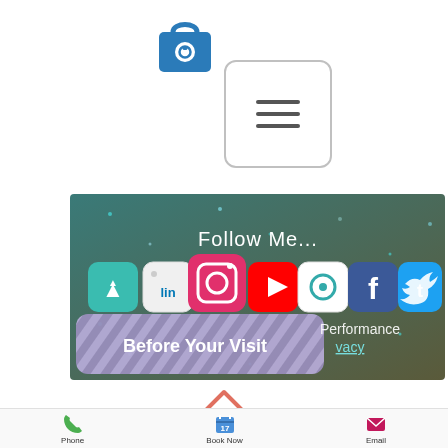[Figure (illustration): Blue shopping bag icon with white circle/lock symbol on front]
[Figure (illustration): Hamburger menu button with three horizontal lines inside a rounded rectangle border]
[Figure (screenshot): Social media section with dark teal/olive background with particles, text 'Follow Me...' and row of social media app icons (some kind of tracking/analytics, LinkedIn, Instagram, YouTube, Curable, Facebook, Twitter). Below: a purple striped overlay with text 'Before Your Visit' and partially visible text 'Performance' and 'vacy'. Chevron up arrow below the banner.]
[Figure (illustration): Bottom navigation bar with Phone (green phone icon), Book Now (blue calendar icon with 17), and Email (pink/magenta envelope icon)]